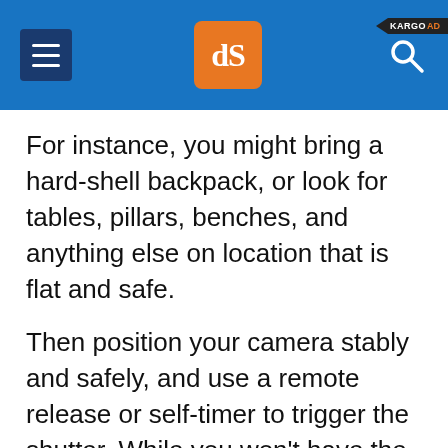dPS header with hamburger menu and search
For instance, you might bring a hard-shell backpack, or look for tables, pillars, benches, and anything else on location that is flat and safe.
Then position your camera stably and safely, and use a remote release or self-timer to trigger the shutter. While you won't have the same level of compositional flexibility offered by an actual tripod, you can still get great results, even at night: